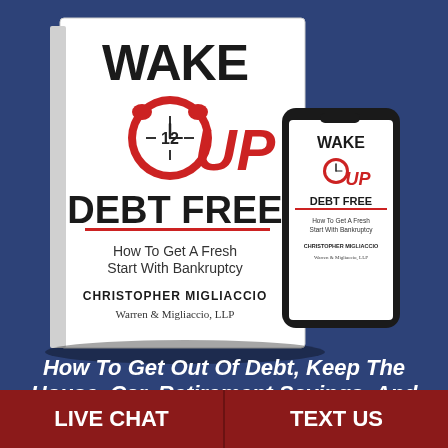[Figure (illustration): Book cover and phone mockup of 'Wake Up Debt Free: How To Get A Fresh Start With Bankruptcy' by Christopher Migliaccio, Warren & Migliaccio, LLP. The book is shown as a 3D standing hardcover with a red alarm clock graphic, the title 'WAKE UP DEBT FREE' in large bold black and red letters, and a phone showing the same cover design, all on a navy blue background.]
How To Get Out Of Debt, Keep The House, Car, Retirement Savings, And Finally Get A Fresh Start!
LIVE CHAT
TEXT US